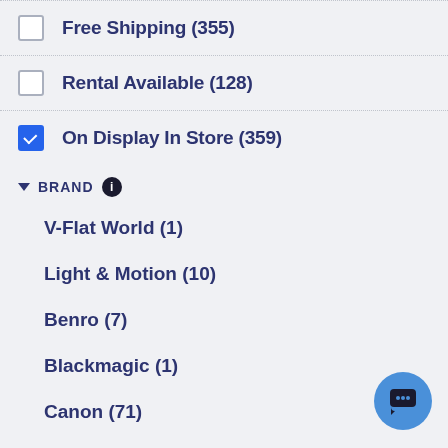Free Shipping (355)
Rental Available (128)
On Display In Store (359)
BRAND
V-Flat World (1)
Light & Motion (10)
Benro (7)
Blackmagic (1)
Canon (71)
DJI (4)